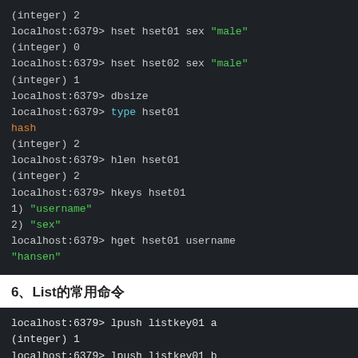[Figure (screenshot): Terminal/console output showing Redis hash commands: hset, dbsize, type, hlen, hkeys, hget with colored output]
6、List的常用命令
[Figure (screenshot): Terminal/console output showing Redis list commands: lpush listkey01 a, lpush listkey01 b, lpush listkey01 c]